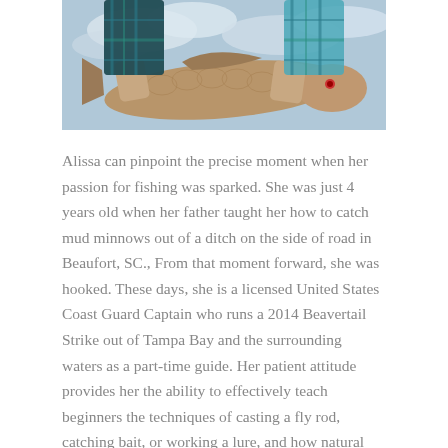[Figure (photo): A person in a blue plaid shirt holding a large fish (redfish/red drum) against a cloudy sky background. Only the hands, fish, and lower part of the shirt are visible.]
Alissa can pinpoint the precise moment when her passion for fishing was sparked. She was just 4 years old when her father taught her how to catch mud minnows out of a ditch on the side of road in Beaufort, SC., From that moment forward, she was hooked. These days, she is a licensed United States Coast Guard Captain who runs a 2014 Beavertail Strike out of Tampa Bay and the surrounding waters as a part-time guide. Her patient attitude provides her the ability to effectively teach beginners the techniques of casting a fly rod, catching bait, or working a lure, and how natural factors influence fish and their movement. She is always seeking new fishing adventures and looks forward to a lifetime of fishing.